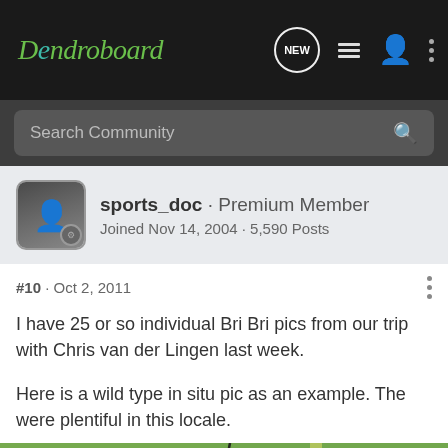Dendroboard
Search Community
sports_doc · Premium Member
Joined Nov 14, 2004 · 5,590 Posts
#10 · Oct 2, 2011
I have 25 or so individual Bri Bri pics from our trip with Chris van der Lingen last week.

Here is a wild type in situ pic as an example. The were plentiful in this locale.
[Figure (photo): Close-up photo of large green tropical leaf with water droplets and dark vein/stem visible]